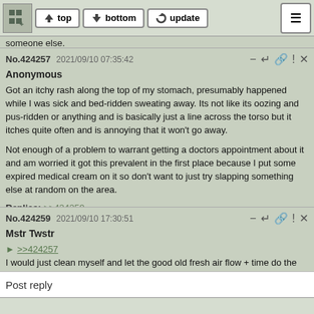top | bottom | update
someone else.
No.424257  2021/09/10 07:35:42
Anonymous

Got an itchy rash along the top of my stomach, presumably happened while I was sick and bed-ridden sweating away. Its not like its oozing and pus-ridden or anything and is basically just a line across the torso but it itches quite often and is annoying that it won't go away.

Not enough of a problem to warrant getting a doctors appointment about it and am worried it got this prevalent in the first place because I put some expired medical cream on it so don't want to just try slapping something else at random on the area.

Replies: >>424259
No.424259  2021/09/10 17:30:51
Mstr Twstr

>>424257
I would just clean myself and let the good old fresh air flow + time do the rest.

But then again, I am not a medical expert.
No.424275  2021/09/14 05:13:23
Anonymous
[Figure (screenshot): Screenshot of a social media post thumbnail. Shows an avatar, username 'hello' / '@someone', text 'Hubby started running fever. I have the pasta.', a redacted/blacked-out section, and text 'she shared her first post.']
Post reply